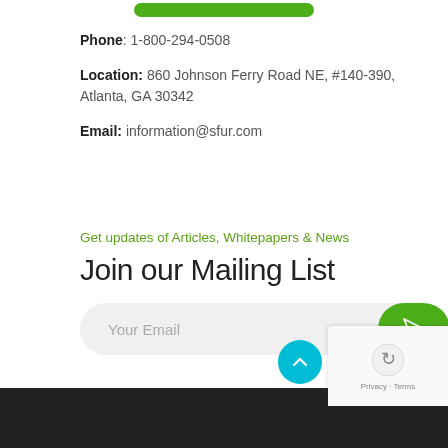[Figure (other): Green button (rounded rectangle) at top of page]
Phone: 1-800-294-0508
Location: 860 Johnson Ferry Road NE, #140-390, Atlanta, GA 30342
Email: information@sfur.com
Get updates of Articles, Whitepapers & News
Join our Mailing List
[Figure (other): Email subscription form with 'Your Email' placeholder text and a green submit button with paper plane icon]
[Figure (other): Scroll to top button (cyan circle with up arrow) and reCAPTCHA badge with Privacy and Terms links]
Privacy · Terms